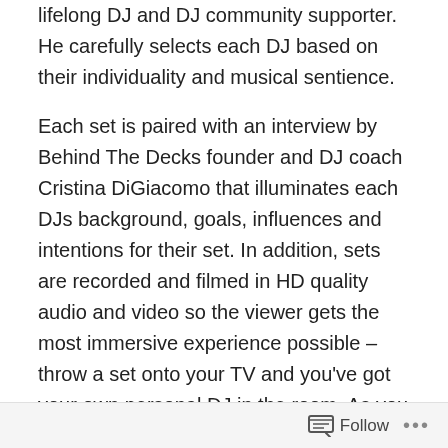lifelong DJ and DJ community supporter. He carefully selects each DJ based on their individuality and musical sentience.
Each set is paired with an interview by Behind The Decks founder and DJ coach Cristina DiGiacomo that illuminates each DJs background, goals, influences and intentions for their set. In addition, sets are recorded and filmed in HD quality audio and video so the viewer gets the most immersive experience possible – throw a set onto your TV and you've got your own personal DJ in the room. As you explore each set one thing will become apparent, each set is like a fingerprint, no one set sounds or looks like the other allowing for diversity and the sense that you will find something truly unique.
www.dopeundergroundbeats.com
Follow ···